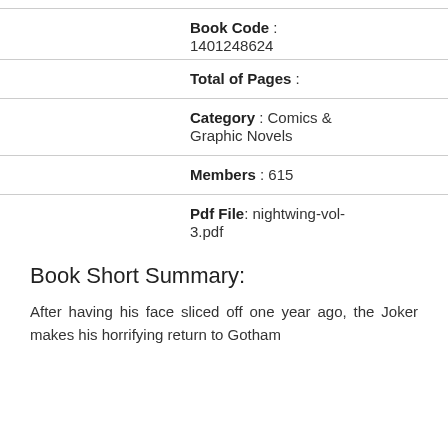Book Code : 1401248624
Total of Pages :
Category : Comics & Graphic Novels
Members : 615
Pdf File: nightwing-vol-3.pdf
Book Short Summary:
After having his face sliced off one year ago, the Joker makes his horrifying return to Gotham